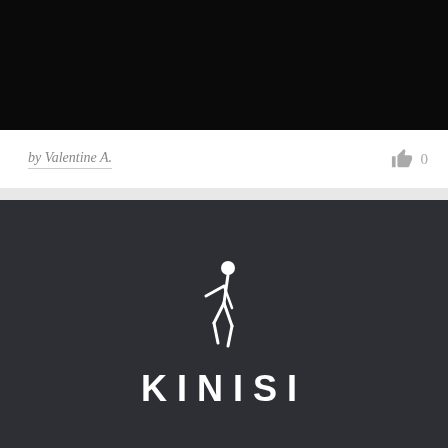[Figure (photo): Dark/black background image at top of page]
by Valentine A.
0
[Figure (logo): KINISI logo on dark charcoal background with white silhouette of a dancer/person in motion above the word KINISI in bold white capital letters with wide letter-spacing]